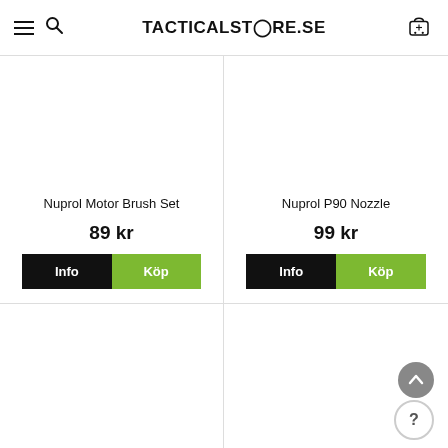TACTICALSTORE.SE
Nuprol Motor Brush Set
89 kr
Nuprol P90 Nozzle
99 kr